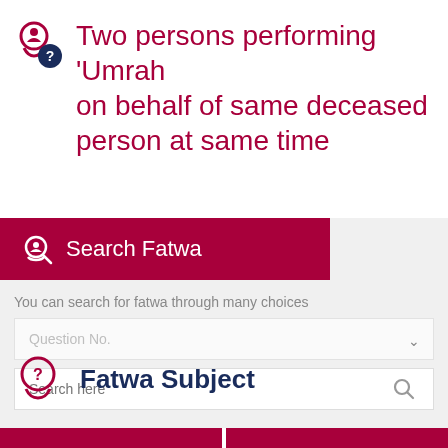Two persons performing 'Umrah on behalf of same deceased person at same time
Search Fatwa
You can search for fatwa through many choices
Fatwa Subject